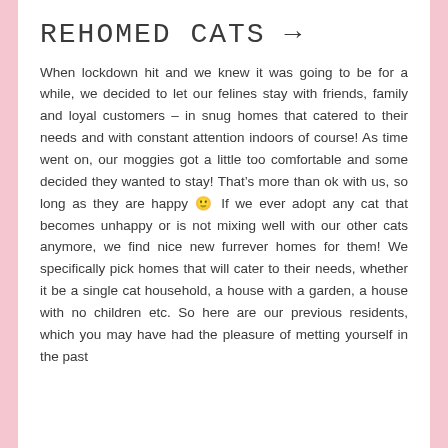REHOMED CATS →
When lockdown hit and we knew it was going to be for a while, we decided to let our felines stay with friends, family and loyal customers – in snug homes that catered to their needs and with constant attention indoors of course! As time went on, our moggies got a little too comfortable and some decided they wanted to stay! That's more than ok with us, so long as they are happy 🙂 If we ever adopt any cat that becomes unhappy or is not mixing well with our other cats anymore, we find nice new furrever homes for them! We specifically pick homes that will cater to their needs, whether it be a single cat household, a house with a garden, a house with no children etc. So here are our previous residents, which you may have had the pleasure of metting yourself in the past…